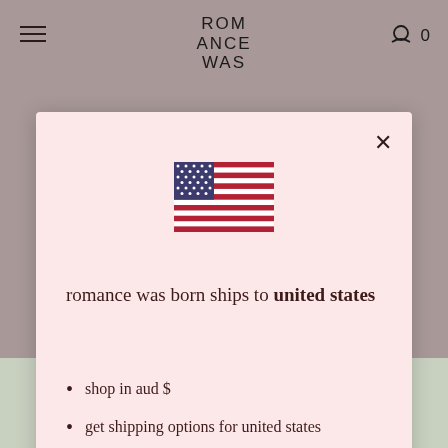ROMANCE WAS
[Figure (screenshot): US flag icon in modal]
romance was born ships to united states
shop in aud $
get shipping options for united states
shop now
change shipping country
[Figure (photo): Floral patterned clothing product image at bottom of page]